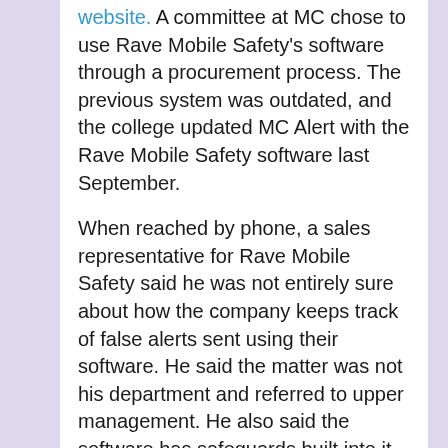website. A committee at MC chose to use Rave Mobile Safety's software through a procurement process. The previous system was outdated, and the college updated MC Alert with the Rave Mobile Safety software last September.
When reached by phone, a sales representative for Rave Mobile Safety said he was not entirely sure about how the company keeps track of false alerts sent using their software. He said the matter was not his department and referred to upper management. He also said the software has safeguards built into it to prevent false alerts, including a chance to review messages before sending them.
The current MC Alert system requires people to manually register their phone numbers online to receive alerts via text message, although alerts are sent out to MC email addresses by default. Currently, over ten thousand phone numbers